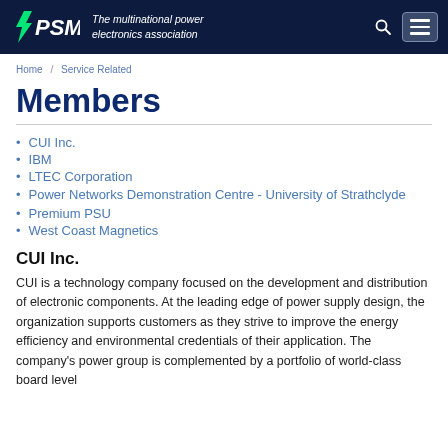PSMA – The multinational power electronics association
Home / Service Related
Members
CUI Inc.
IBM
LTEC Corporation
Power Networks Demonstration Centre - University of Strathclyde
Premium PSU
West Coast Magnetics
CUI Inc.
CUI is a technology company focused on the development and distribution of electronic components. At the leading edge of power supply design, the organization supports customers as they strive to improve the energy efficiency and environmental credentials of their application. The company's power group is complemented by a portfolio of world-class board level